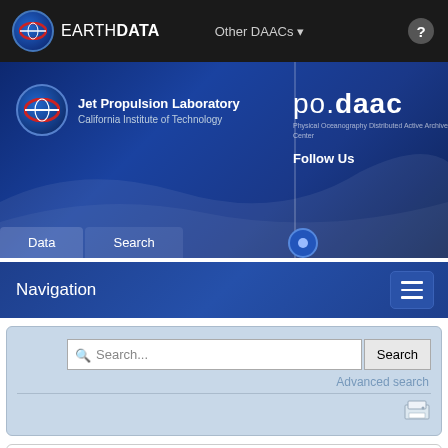EARTH DATA  Other DAACs ▼
[Figure (screenshot): NASA EARTHDATA / PO.DAAC website header banner with Jet Propulsion Laboratory logo, PO.DAAC logo, Follow Us text]
Navigation
[Figure (screenshot): Search bar with Search... placeholder text, Search button, Advanced search link, and print icon]
Data subscriber error
Forum home ‹ PODAAC Forums ‹ PO.DAAC in the CLOUD ‹
CLOUD DATA - ACCESS